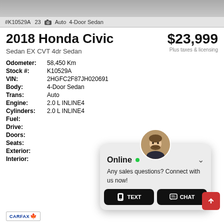[Figure (photo): Top portion of a car photo (grey/concrete background)]
#K10529A   23 [camera] Auto   4-Door Sedan
2018 Honda Civic
Sedan EX CVT 4dr Sedan
$23,999
Plus taxes & licensing
| Label | Value |
| --- | --- |
| Odometer: | 58,450 Km |
| Stock #: | K10529A |
| VIN: | 2HGFC2F87JH020691 |
| Body: | 4-Door Sedan |
| Trans: | Auto |
| Engine: | 2.0 L INLINE4 |
| Cylinders: | 2.0 L INLINE4 |
| Fuel: |  |
| Drive: |  |
| Doors: |  |
| Seats: |  |
| Exterior: |  |
| Interior: |  |
[Figure (screenshot): Chat widget overlay with Online status, avatar photo, text and chat buttons]
[Figure (logo): CARFAX Canada logo with maple leaf]